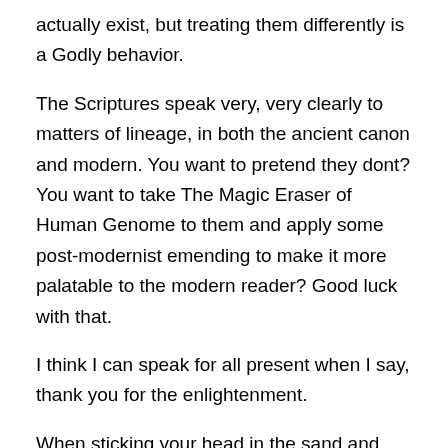actually exist, but treating them differently is a Godly behavior.
The Scriptures speak very, very clearly to matters of lineage, in both the ancient canon and modern. You want to pretend they dont? You want to take The Magic Eraser of Human Genome to them and apply some post-modernist emending to make it more palatable to the modern reader? Good luck with that.
I think I can speak for all present when I say, thank you for the enlightenment.
When sticking your head in the sand and using the latest genetic discoveries is the way you develop theology, then hats off to one so